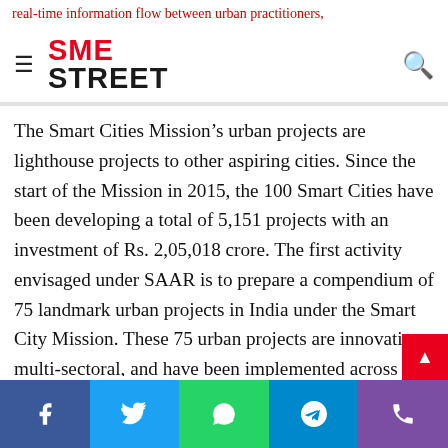real-time information flow between urban practitioners
[Figure (logo): SME Street logo with hamburger menu and search icon]
The Smart Cities Mission’s urban projects are lighthouse projects to other aspiring cities. Since the start of the Mission in 2015, the 100 Smart Cities have been developing a total of 5,151 projects with an investment of Rs. 2,05,018 crore. The first activity envisaged under SAAR is to prepare a compendium of 75 landmark urban projects in India under the Smart City Mission. These 75 urban projects are innovative, multi-sectoral, and have been implemented across geographies. The program marks the 75th anniversary of India’s independence, with the idea to showcase
Social share bar: Facebook, Twitter, WhatsApp, Telegram, Phone